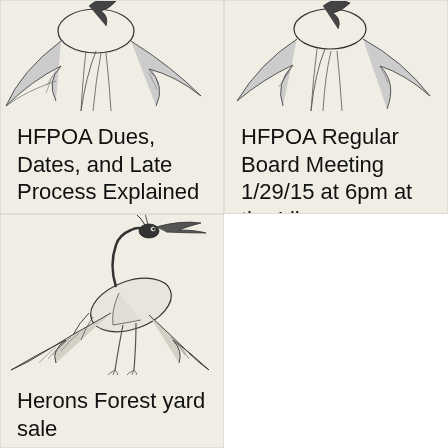[Figure (illustration): Black and white ink drawing of a heron/bird in flight, partially cropped at top, upper left card]
HFPOA Dues, Dates, and Late Process Explained
[Figure (illustration): Black and white ink drawing of a heron/bird in flight, partially cropped at top, upper right card]
HFPOA Regular Board Meeting 1/29/15 at 6pm at the Library
[Figure (illustration): Black and white ink drawing of a heron in flight, full bird visible, lower left card]
Herons Forest yard sale